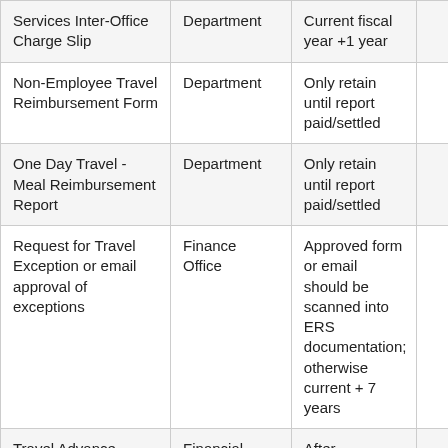| Services Inter-Office Charge Slip | Department | Current fiscal year +1 year |  |
| Non-Employee Travel Reimbursement Form | Department | Only retain until report paid/settled |  |
| One Day Travel - Meal Reimbursement Report | Department | Only retain until report paid/settled |  |
| Request for Travel Exception or email approval of exceptions | Finance Office | Approved form or email should be scanned into ERS documentation; otherwise current + 7 years |  |
| Travel Advance | Financial | After settlement; |  |